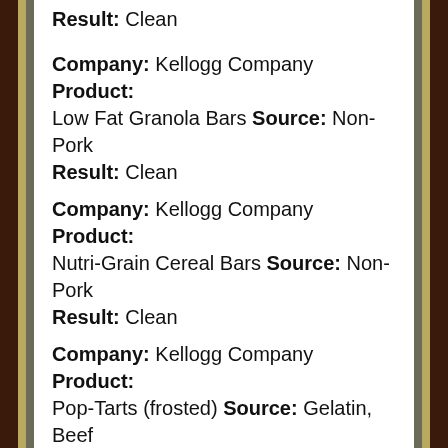Result: Clean
Company: Kellogg Company Product: Low Fat Granola Bars Source: Non-Pork Result: Clean
Company: Kellogg Company Product: Nutri-Grain Cereal Bars Source: Non-Pork Result: Clean
Company: Kellogg Company Product: Pop-Tarts (frosted) Source: Gelatin, Beef Result: Clean
Company: Kellogg Company Product: Pop-Tarts (un-frosted) Source: Non-Gelatin Result: Clean
Company: Kellogg Company Product: